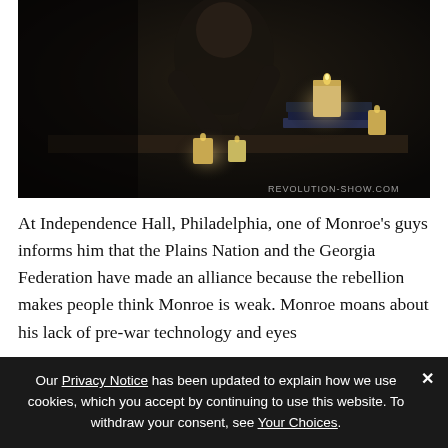[Figure (photo): Dark scene with a person sitting at a table with candles and books stacked on it. Watermark text 'REVOLUTION-SHOW.COM' visible in bottom right corner.]
At Independence Hall, Philadelphia, one of Monroe's guys informs him that the Plains Nation and the Georgia Federation have made an alliance because the rebellion makes people think Monroe is weak. Monroe moans about his lack of pre-war technology and eyes the man on the table. This man are sitting live and he...
Our Privacy Notice has been updated to explain how we use cookies, which you accept by continuing to use this website. To withdraw your consent, see Your Choices.